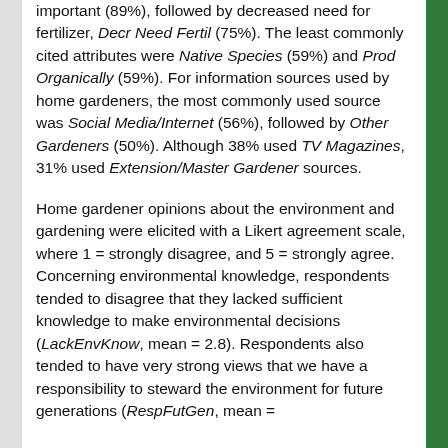important (89%), followed by decreased need for fertilizer, Decr Need Fertil (75%). The least commonly cited attributes were Native Species (59%) and Prod Organically (59%). For information sources used by home gardeners, the most commonly used source was Social Media/Internet (56%), followed by Other Gardeners (50%). Although 38% used TV Magazines, 31% used Extension/Master Gardener sources.
Home gardener opinions about the environment and gardening were elicited with a Likert agreement scale, where 1 = strongly disagree, and 5 = strongly agree. Concerning environmental knowledge, respondents tended to disagree that they lacked sufficient knowledge to make environmental decisions (LackEnvKnow, mean = 2.8). Respondents also tended to have very strong views that we have a responsibility to steward the environment for future generations (RespFutGen, mean =